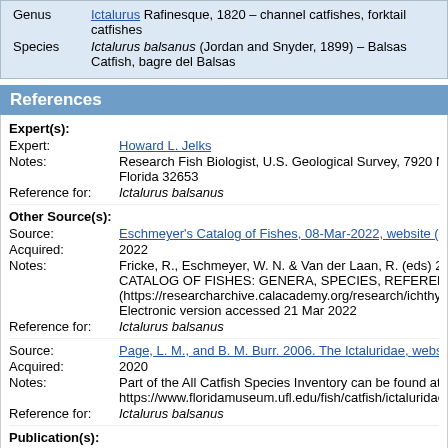| Genus | Ictalurus Rafinesque, 1820 – channel catfishes, forktail catfishes |
| Species | Ictalurus balsanus (Jordan and Snyder, 1899) – Balsas Catfish, bagre del Balsas |
References
Expert(s):
Expert: Howard L. Jelks
Notes: Research Fish Biologist, U.S. Geological Survey, 7920 N.W. 71 Florida 32653
Reference for: Ictalurus balsanus
Other Source(s):
Source: Eschmeyer's Catalog of Fishes, 08-Mar-2022, website (version...
Acquired: 2022
Notes: Fricke, R., Eschmeyer, W. N. & Van der Laan, R. (eds) 2022. CATALOG OF FISHES: GENERA, SPECIES, REFERENCES. (https://researcharchive.calacademy.org/research/ichthyology/c) Electronic version accessed 21 Mar 2022
Reference for: Ictalurus balsanus
Source: Page, L. M., and B. M. Burr. 2006. The Ictaluridae, website (ver...
Acquired: 2020
Notes: Part of the All Catfish Species Inventory can be found at https://www.floridamuseum.ufl.edu/fish/catfish/ictaluridae/ [com...
Reference for: Ictalurus balsanus
Publication(s):
Author(s)/Editor(s): Ferraris, Carl J., Jr.